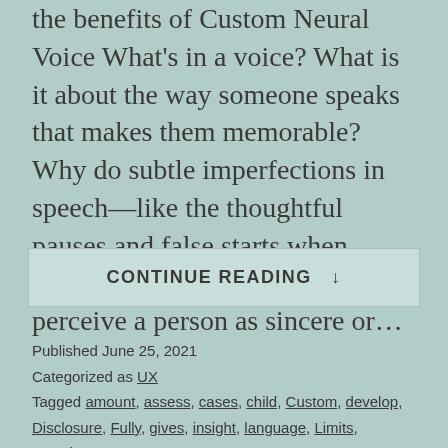the benefits of Custom Neural Voice What's in a voice? What is it about the way someone speaks that makes them memorable? Why do subtle imperfections in speech—like the thoughtful pauses and false starts when thinking on one's feet—help us perceive a person as sincere or…
CONTINUE READING ↓
Published June 25, 2021
Categorized as UX
Tagged amount, assess, cases, child, Custom, develop, Disclosure, Fully, gives, insight, language, Limits, Mapping, ...